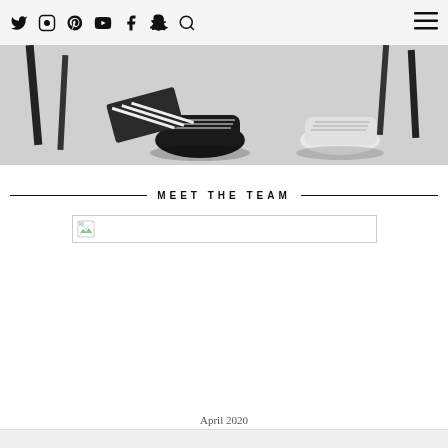Social media icons: Twitter, Instagram, Pinterest, YouTube, Facebook, Snapchat, Search, Hamburger menu
[Figure (photo): Black and white photo of feet with sneakers under school chairs/desks]
MEET THE TEAM
[Figure (photo): Broken image placeholder (image failed to load)]
April 2020